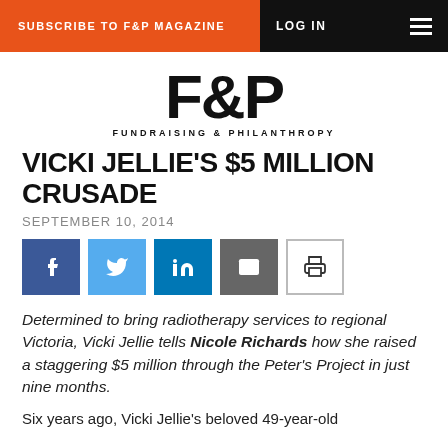SUBSCRIBE TO F&P MAGAZINE  LOG IN
[Figure (logo): F&P Fundraising & Philanthropy magazine logo]
VICKI JELLIE'S $5 MILLION CRUSADE
SEPTEMBER 10, 2014
[Figure (infographic): Social share buttons: Facebook, Twitter, LinkedIn, Email, Print]
Determined to bring radiotherapy services to regional Victoria, Vicki Jellie tells Nicole Richards how she raised a staggering $5 million through the Peter's Project in just nine months.
Six years ago, Vicki Jellie's beloved 49-year-old